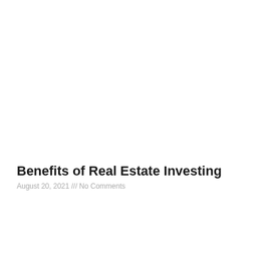Benefits of Real Estate Investing
August 20, 2021 /// No Comments